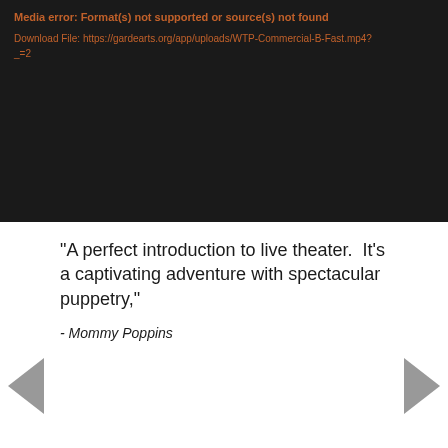[Figure (screenshot): Video player error screen with dark background showing 'Media error: Format(s) not supported or source(s) not found' and a download link to https://gardearts.org/app/uploads/WTP-Commercial-B-Fast.mp4?_=2]
“A perfect introduction to live theater.  It's a captivating adventure with spectacular puppetry,"
- Mommy Poppins